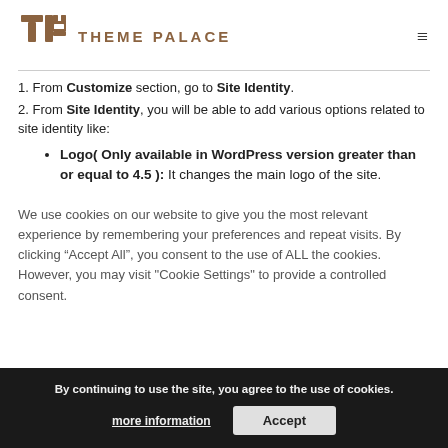THEME PALACE
1. From Customize section, go to Site Identity.
2. From Site Identity, you will be able to add various options related to site identity like:
Logo( Only available in WordPress version greater than or equal to 4.5 ): It changes the main logo of the site.
We use cookies on our website to give you the most relevant experience by remembering your preferences and repeat visits. By clicking “Accept All”, you consent to the use of ALL the cookies. However, you may visit "Cookie Settings" to provide a controlled consent.
By continuing to use the site, you agree to the use of cookies.
more information
Accept